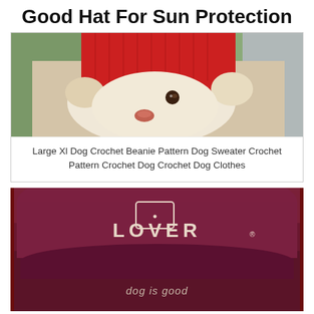Good Hat For Sun Protection
[Figure (photo): A white/cream colored dog wearing a red crochet beanie hat, photographed from above against a green background]
Large Xl Dog Crochet Beanie Pattern Dog Sweater Crochet Pattern Crochet Dog Crochet Dog Clothes
[Figure (photo): A dark maroon/burgundy baseball cap with 'LOVER' text embroidered on it and 'dog is good' text on the brim, with a dog paw icon logo]